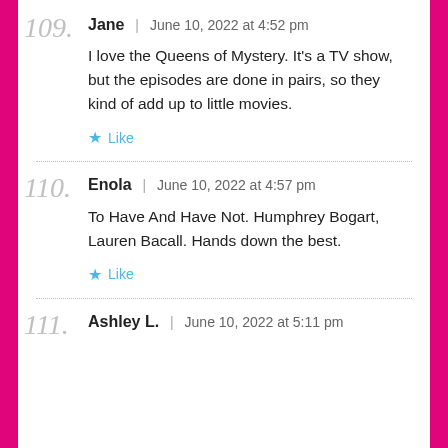109. Jane | June 10, 2022 at 4:52 pm — I love the Queens of Mystery. It's a TV show, but the episodes are done in pairs, so they kind of add up to little movies. Like
110. Enola | June 10, 2022 at 4:57 pm — To Have And Have Not. Humphrey Bogart, Lauren Bacall. Hands down the best. Like
111. Ashley L. | June 10, 2022 at 5:11 pm